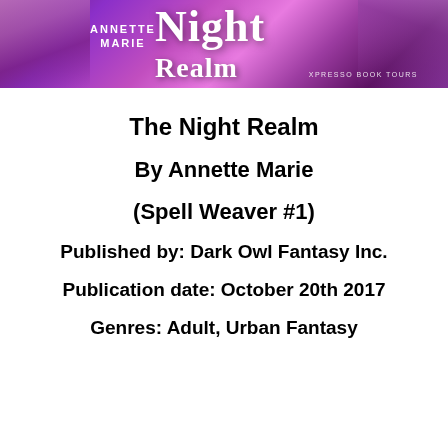[Figure (illustration): Book tour banner for 'The Night Realm' by Annette Marie, with purple/pink fantasy background and stylized title text. Includes 'Xpresso Book Tours' branding.]
The Night Realm
By Annette Marie
(Spell Weaver #1)
Published by: Dark Owl Fantasy Inc.
Publication date: October 20th 2017
Genres: Adult, Urban Fantasy